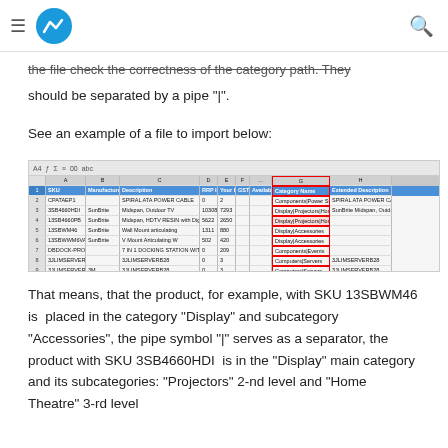VM [logo] [hamburger menu] [search icon]
the file check the correctness of the category path. They should be separated by a pipe "|".
See an example of a file to import below:
[Figure (screenshot): Screenshot of a spreadsheet showing product import file with columns: SKU, Manufacturer, Description, RRP Inc., Your Buy Ex. GST, Available (Qty), Category Name, Extended Description. Rows include products like SPIRAL ATA POWER CABLE, SunBrite Midspan Outdoor TV, SunBrite Midspan HDTV RESIN with Digital, SunBrite Wall Mount articulating, SunBrite V Mount Articulating W, 7 IN 1 DOCKING STATION WITH EXTERNAL, 3JLIMSERVERB28, 3JLIMSERVERB28, 3M CTR 17 34 AG400 24. Category Name column is highlighted with red border showing values like Components|Power Supplies, Display|Projectors|Home Theatre, Display|Projectors|Home Theatre, Display|Accessories, Display|Accessories, Components|Events, Computers|Servers, Computers|Servers, Display|Accessories.]
That means, that the product, for example, with SKU 13SBWM46 is  placed in the category "Display" and subcategory "Accessories", the pipe symbol "|" serves as a separator, the product with SKU 3SB4660HDI  is in the "Display" main category and its subcategories: "Projectors" 2-nd level and "Home Theatre" 3-rd level